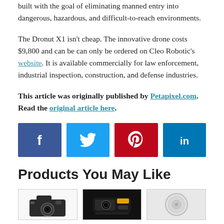the commercial drone operations, the Dronut X1 has been built with the goal of eliminating manned entry into dangerous, hazardous, and difficult-to-reach environments.
The Dronut X1 isn't cheap. The innovative drone costs $9,800 and can be can only be ordered on Cleo Robotic's website. It is available commercially for law enforcement, industrial inspection, construction, and defense industries.
This article was originally published by Petapixel.com. Read the original article here.
[Figure (other): Social sharing buttons row: Facebook (dark blue, 'f'), Twitter (blue, bird icon), Pinterest (red, 'p' icon), LinkedIn (blue, 'in')]
Products You May Like
[Figure (photo): Three product images in a row: Canon DSLR camera (dark), a camera/drone device (dark), and a round white lens or accessory]